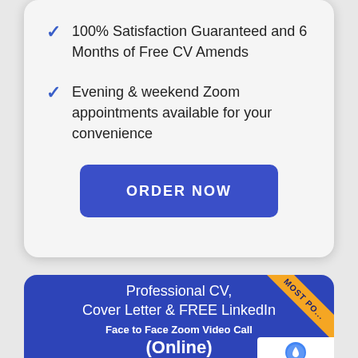100% Satisfaction Guaranteed and 6 Months of Free CV Amends
Evening & weekend Zoom appointments available for your convenience
ORDER NOW
[Figure (infographic): Blue card with text: Professional CV, Cover Letter & FREE LinkedIn Face to Face Zoom Video Call (Online), with a diagonal orange 'MOST PO...' ribbon badge in top-right corner]